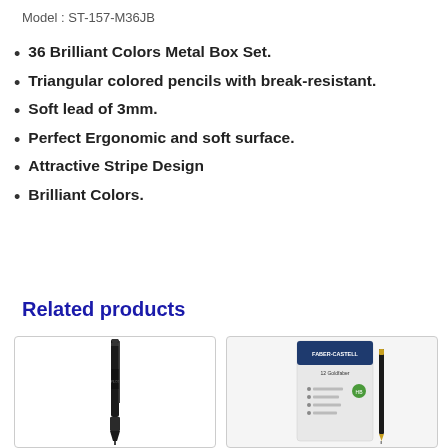Model : ST-157-M36JB
36 Brilliant Colors Metal Box Set.
Triangular colored pencils with break-resistant.
Soft lead of 3mm.
Perfect Ergonomic and soft surface.
Attractive Stripe Design
Brilliant Colors.
Related products
[Figure (photo): Black ballpoint pen standing upright against white background]
[Figure (photo): Faber-Castell 12 Goldfaber pencil set packaging with pencil]